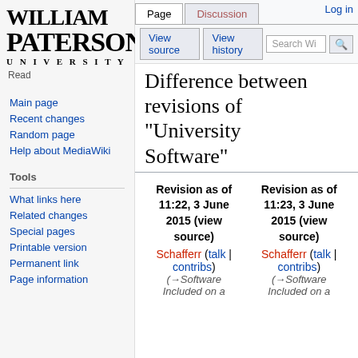Log in
[Figure (logo): William Paterson University logo in bold serif text]
Read
Main page
Recent changes
Random page
Help about MediaWiki
Tools
What links here
Related changes
Special pages
Printable version
Permanent link
Page information
Difference between revisions of "University Software"
| Revision as of 11:22, 3 June 2015 (view source) | Revision as of 11:23, 3 June 2015 (view source) |
| --- | --- |
| Schafferr (talk | contribs) | Schafferr (talk | contribs) |
| (→Software Included on a | (→Software Included on a |